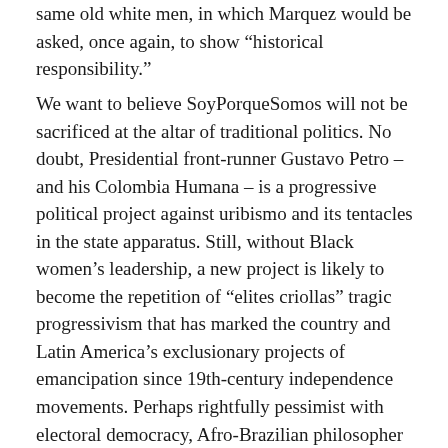same old white men, in which Marquez would be asked, once again, to show “historical responsibility.”
We want to believe SoyPorqueSomos will not be sacrificed at the altar of traditional politics. No doubt, Presidential front-runner Gustavo Petro – and his Colombia Humana – is a progressive political project against uribismo and its tentacles in the state apparatus. Still, without Black women’s leadership, a new project is likely to become the repetition of “elites criollas” tragic progressivism that has marked the country and Latin America’s exclusionary projects of emancipation since 19th-century independence movements. Perhaps rightfully pessimist with electoral democracy, Afro-Brazilian philosopher Sueli Carneiro has contended that “between right and left, I am Black.” Now, to prove Carneiro’s statement wrong in the Colombian context, the Pacto Histórico must disinvest itself from its addiction to racism, and recognize and accept Black